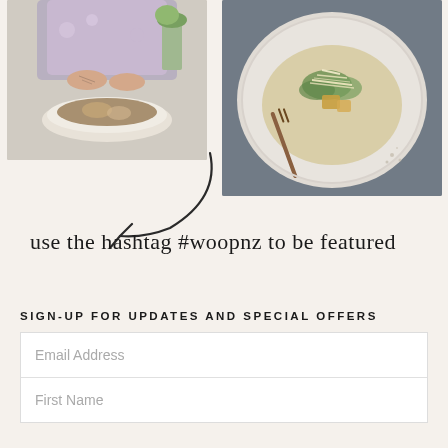[Figure (photo): Two food photos side by side: left photo shows a person with tattooed hands eating a grain bowl at a table; right photo shows a close-up of a gourmet dish with greens and shredded cheese on a rustic plate.]
[Figure (illustration): Curved arrow illustration pointing down-left, hand-drawn style in black ink.]
use the hashtag #woopnz to be featured
SIGN-UP FOR UPDATES AND SPECIAL OFFERS
Email Address
First Name